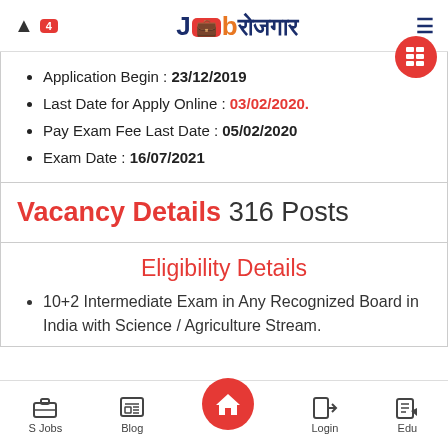Job Rojgar - 4 notifications
Application Begin : 23/12/2019
Last Date for Apply Online : 03/02/2020.
Pay Exam Fee Last Date : 05/02/2020
Exam Date : 16/07/2021
Vacancy Details 316 Posts
Eligibility Details
10+2 Intermediate Exam in Any Recognized Board in India with Science / Agriculture Stream.
S Jobs  Blog  Home  Login  Edu